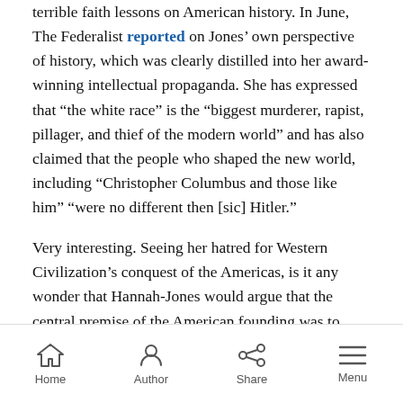terrible faith lessons on American history. In June, The Federalist reported on Jones' own perspective of history, which was clearly distilled into her award-winning intellectual propaganda. She has expressed that “the white race” is the “biggest murderer, rapist, pillager, and thief of the modern world” and has also claimed that the people who shaped the new world, including “Christopher Columbus and those like him” “were no different then [sic] Hitler.”
Very interesting. Seeing her hatred for Western Civilization’s conquest of the Americas, is it any wonder that Hannah-Jones would argue that the central premise of the American founding was to preserve and protect slavery? She wrote, “the framers carefully
Home  Author  Share  Menu